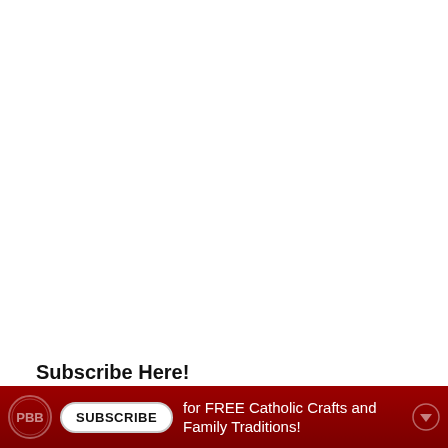Subscribe Here!
[Figure (infographic): Dark red subscription bar with PBB circular logo on the left, a white rounded SUBSCRIBE button, text reading 'for FREE Catholic Crafts and Family Traditions!' in white, and a down-arrow circle icon on the right.]